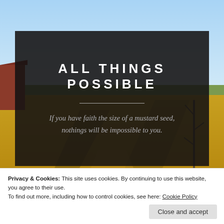[Figure (photo): Outdoor rural landscape with golden wheat fields under a blue sky, a red barn structure visible on the left side, and a path running through the field. Warm autumn light.]
ALL THINGS POSSIBLE
If you have faith the size of a mustard seed, nothings will be impossible to you.
Privacy & Cookies: This site uses cookies. By continuing to use this website, you agree to their use.
To find out more, including how to control cookies, see here: Cookie Policy
Close and accept